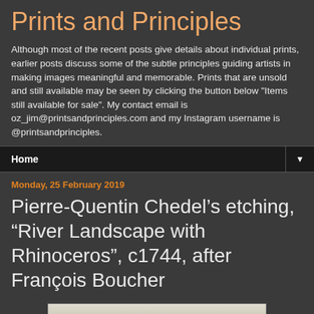Prints and Principles
Although most of the recent posts give details about individual prints, earlier posts discuss some of the subtle principles guiding artists in making images meaningful and memorable. Prints that are unsold and still available may be seen by clicking the button below "Items still available for sale". My contact email is oz_jim@printsandprinciples.com and my Instagram username is @printsandprinciples.
Home
Monday, 25 February 2019
Pierre-Quentin Chedel’s etching, “River Landscape with Rhinoceros”, c1744, after François Boucher
[Figure (photo): Bottom edge of an artwork or print image, partially visible as a light-colored strip]